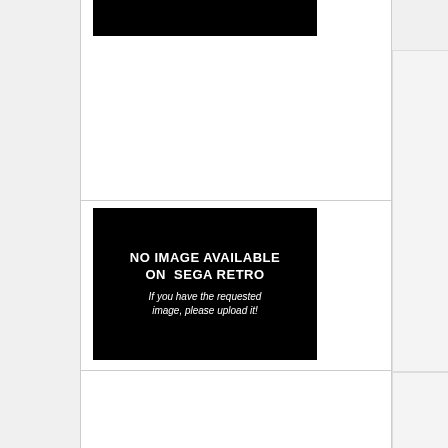[Figure (other): Black rectangular image placeholder at the top of the main content column]
[Figure (other): No Image Available on Sega Retro placeholder. Black background with white bold text reading 'NO IMAGE AVAILABLE ON SEGA RETRO' and italic text 'If you have the requested image, please upload it!']